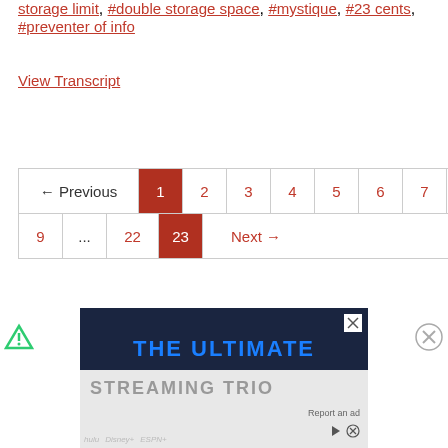storage limit, #double storage space, #mystique, #23 cents, #preventer of info
View Transcript
[Figure (other): Pagination control: Previous, 1 (active/highlighted red), 2, 3, 4, 5, 6, 7, 8 on first row; 9, ..., 22, 23, Next on second row]
[Figure (other): Advertisement banner: dark blue background with 'THE ULTIMATE' in blue text, 'STREAMING TRIO' partially visible below. Close button top right. Small green triangle icon bottom left, X circle icon bottom right. Report an ad label with icons.]